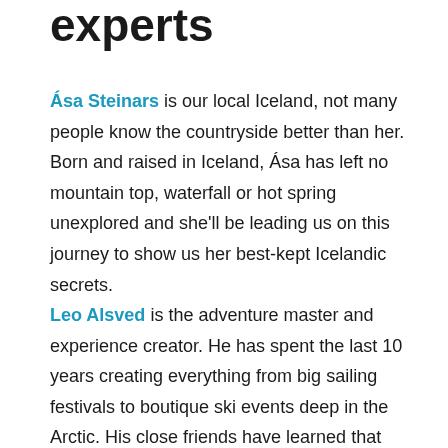experts
Ása Steinars is our local Iceland, not many people know the countryside better than her. Born and raised in Iceland, Ása has left no mountain top, waterfall or hot spring unexplored and she'll be leading us on this journey to show us her best-kept Icelandic secrets.
Leo Alsved is the adventure master and experience creator. He has spent the last 10 years creating everything from big sailing festivals to boutique ski events deep in the Arctic. His close friends have learned that